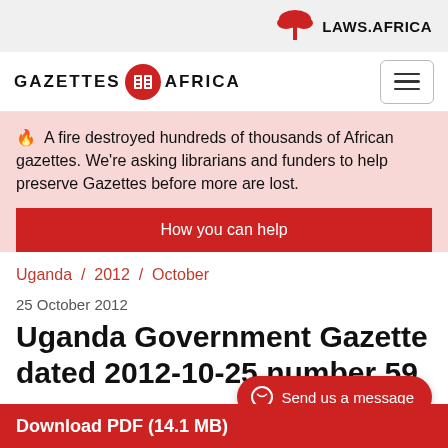LAWS.AFRICA
GAZETTES AFRICA
🔥 A fire destroyed hundreds of thousands of African gazettes. We're asking librarians and funders to help preserve Gazettes before more are lost.
How you can help
Uganda / 2012 / October
25 October 2012
Uganda Government Gazette dated 2012-10-25 number 59
Download PDF (14.1 MB)
Send us a message